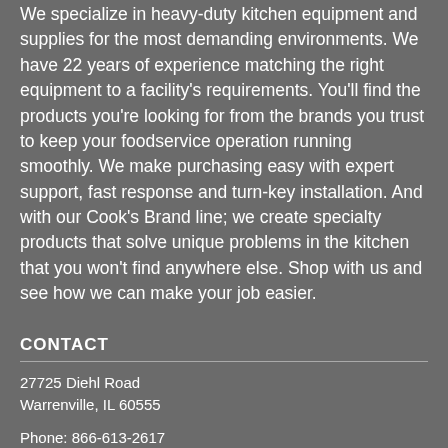We specialize in heavy-duty kitchen equipment and supplies for the most demanding environments. We have 22 years of experience matching the right equipment to a facility's requirements. You'll find the products you're looking for from the brands you trust to keep your foodservice operation running smoothly. We make purchasing easy with expert support, fast response and turn-key installation. And with our Cook's Brand line; we create specialty products that solve unique problems in the kitchen that you won't find anywhere else. Shop with us and see how we can make your job easier.
CONTACT
27725 Diehl Road
Warrenville, IL 60555
Phone: 866-613-2617